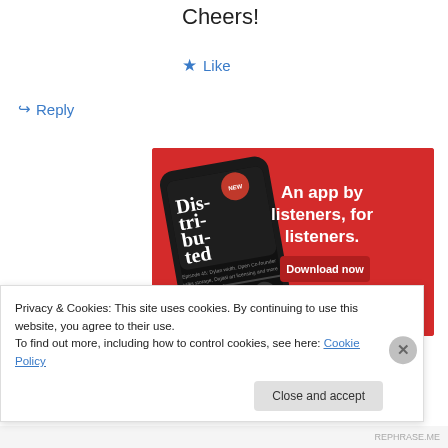Cheers!
★ Like
↪ Reply
[Figure (screenshot): App advertisement on red background showing a smartphone with a podcast app open displaying 'Dis-tri-bu-ted' podcast. Text reads 'An app by listeners, for listeners.' with a 'Download now' button.]
Privacy & Cookies: This site uses cookies. By continuing to use this website, you agree to their use.
To find out more, including how to control cookies, see here: Cookie Policy
Close and accept